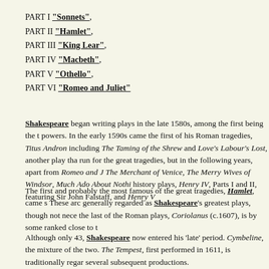PART I "Sonnets",
PART II "Hamlet",
PART III "King Lear",
PART IV "Macbeth",
PART V "Othello",
PART VI "Romeo and Juliet"
Shakespeare began writing plays in the late 1580s, among the first being the t powers. In the early 1590s came the first of his Roman tragedies, Titus Andron including The Taming of the Shrew and Love's Labour's Lost, another play tha run for the great tragedies, but in the following years, apart from Romeo and J The Merchant of Venice, The Merry Wives of Windsor, Much Ado About Nothi history plays, Henry IV, Parts I and II, featuring Sir John Falstaff, and Henry V
The first and probably the most famous of the great tragedies, Hamlet, came s These arc generally regarded as Shakespeare's greatest plays, though not nece the last of the Roman plays, Coriolanus (c.1607), is by some ranked close to t
Although only 43, Shakespeare now entered his 'late' period. Cymbeline, the mixture of the two. The Tempest, first performed in 1611, is traditionally regar several subsequent productions.